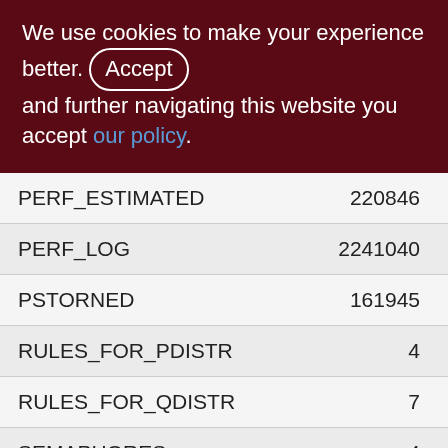We use cookies to make your experience better. By accepting and further navigating this website you accept our policy.
| Name | Value |
| --- | --- |
| PERF_ESTIMATED | 220846 |
| PERF_LOG | 2241040 |
| PSTORNED | 161945 |
| RULES_FOR_PDISTR | 4 |
| RULES_FOR_QDISTR | 7 |
| SEMAPHORES | 4 |
| SETTINGS | 114 |
| TRACE_STAT | 1800 |